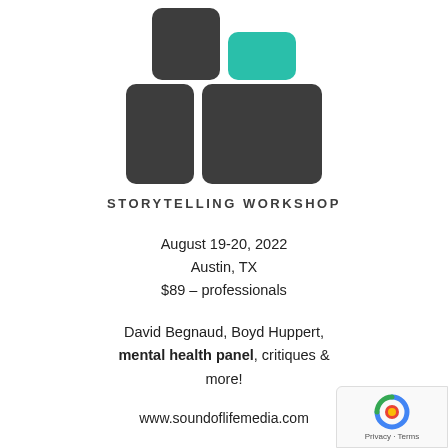[Figure (logo): SLM Storytelling Workshop logo — dark gray and teal rounded rectangles forming letters S, O, L, M stacked in two rows]
STORYTELLING WORKSHOP
August 19-20, 2022
Austin, TX
$89 – professionals
David Begnaud, Boyd Huppert, mental health panel, critiques & more!
www.soundoflifemedia.com